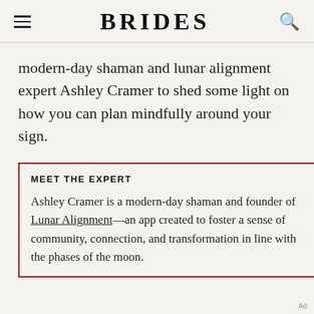BRIDES
modern-day shaman and lunar alignment expert Ashley Cramer to shed some light on how you can plan mindfully around your sign.
MEET THE EXPERT
Ashley Cramer is a modern-day shaman and founder of Lunar Alignment—an app created to foster a sense of community, connection, and transformation in line with the phases of the moon.